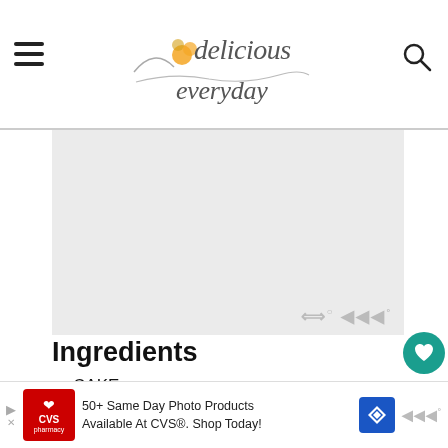delicious everyday
[Figure (illustration): Large gray placeholder image area in the middle of the page]
Ingredients
CAKE
½ cup butter (110g) softened
1 cup caster sugar (220g)
[Figure (infographic): Advertisement banner: 50+ Same Day Photo Products Available At CVS®. Shop Today!]